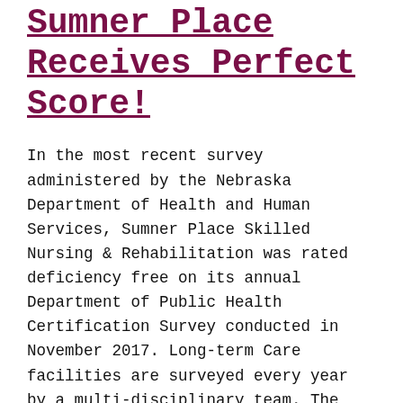Sumner Place Receives Perfect Score!
In the most recent survey administered by the Nebraska Department of Health and Human Services, Sumner Place Skilled Nursing & Rehabilitation was rated deficiency free on its annual Department of Public Health Certification Survey conducted in November 2017. Long-term Care facilities are surveyed every year by a multi-disciplinary team. The rigorous unannounced survey is conducted [...]
Music and Memory Pilot...